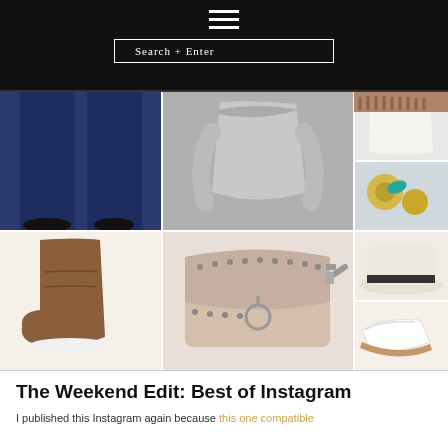Search + Enter
[Figure (photo): Fashion product collage showing: dark wash skinny jeans, gray off-shoulder sweater, white cable knit top, turquoise earrings, brown suede wedge ankle boots, studded blush crossbody bag, cream fedora hat, white loafer flats]
The Weekend Edit: Best of Instagram
I published this Instagram again because this one compatible